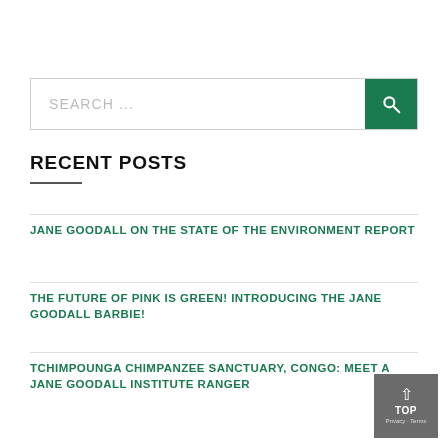SEARCH ...
RECENT POSTS
JANE GOODALL ON THE STATE OF THE ENVIRONMENT REPORT
THE FUTURE OF PINK IS GREEN! INTRODUCING THE JANE GOODALL BARBIE!
TCHIMPOUNGA CHIMPANZEE SANCTUARY, CONGO: MEET A JANE GOODALL INSTITUTE RANGER